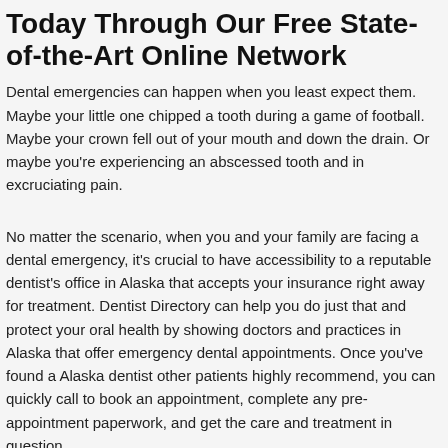Today Through Our Free State-of-the-Art Online Network
Dental emergencies can happen when you least expect them. Maybe your little one chipped a tooth during a game of football. Maybe your crown fell out of your mouth and down the drain. Or maybe you're experiencing an abscessed tooth and in excruciating pain.
No matter the scenario, when you and your family are facing a dental emergency, it's crucial to have accessibility to a reputable dentist's office in Alaska that accepts your insurance right away for treatment. Dentist Directory can help you do just that and protect your oral health by showing doctors and practices in Alaska that offer emergency dental appointments. Once you've found a Alaska dentist other patients highly recommend, you can quickly call to book an appointment, complete any pre-appointment paperwork, and get the care and treatment in question.